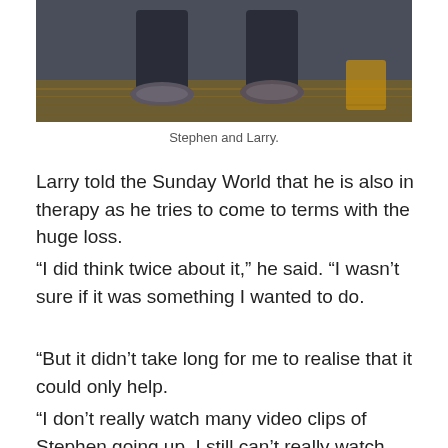[Figure (photo): Cropped photo showing two people's legs and feet standing on a wooden floor, wearing dark jeans and casual shoes.]
Stephen and Larry.
Larry told the Sunday World that he is also in therapy as he tries to come to terms with the huge loss.
“I did think twice about it,” he said. “I wasn’t sure if it was something I wanted to do.
“But it didn’t take long for me to realise that it could only help.
“I don’t really watch many video clips of Stephen going up, I still can’t really watch them.
“I’m struggling because it reminds you that he should be about. But that will come in time, I am sure.”